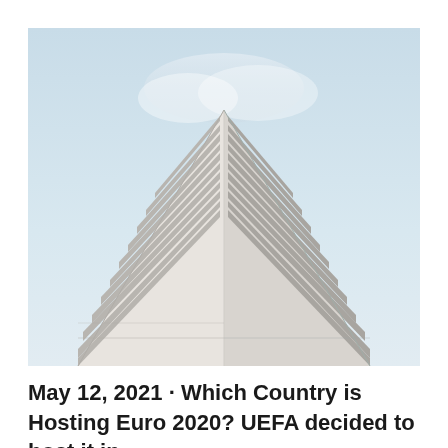[Figure (photo): Upward-angle photograph of a modern white multi-story building against a light blue sky, showing the geometric facade with repeating horizontal ledges forming a triangular perspective converging at the top center.]
May 12, 2021 · Which Country is Hosting Euro 2020? UEFA decided to host it in